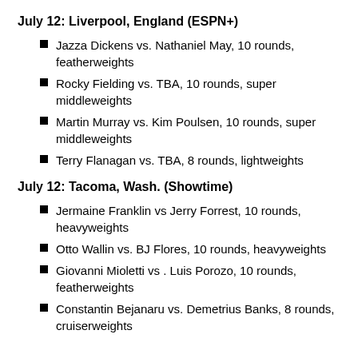July 12: Liverpool, England (ESPN+)
Jazza Dickens vs. Nathaniel May, 10 rounds, featherweights
Rocky Fielding vs. TBA, 10 rounds, super middleweights
Martin Murray vs. Kim Poulsen, 10 rounds, super middleweights
Terry Flanagan vs. TBA, 8 rounds, lightweights
July 12: Tacoma, Wash. (Showtime)
Jermaine Franklin vs Jerry Forrest, 10 rounds, heavyweights
Otto Wallin vs. BJ Flores, 10 rounds, heavyweights
Giovanni Mioletti vs . Luis Porozo, 10 rounds, featherweights
Constantin Bejanaru vs. Demetrius Banks, 8 rounds, cruiserweights